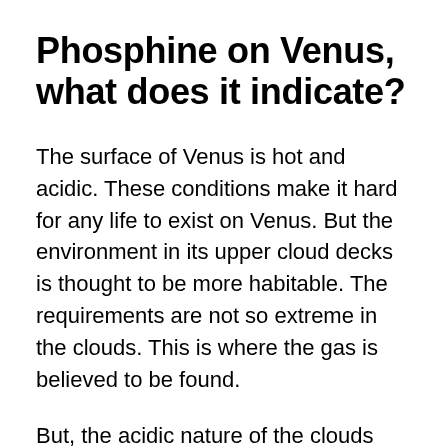Phosphine on Venus, what does it indicate?
The surface of Venus is hot and acidic. These conditions make it hard for any life to exist on Venus. But the environment in its upper cloud decks is thought to be more habitable. The requirements are not so extreme in the clouds. This is where the gas is believed to be found.
But, the acidic nature of the clouds and atmosphere would destroy Phosphine. The presence of Phosphine on Venus shows that something is actively forming it. The formation of gas in such amounts cannot be easily explained in any other